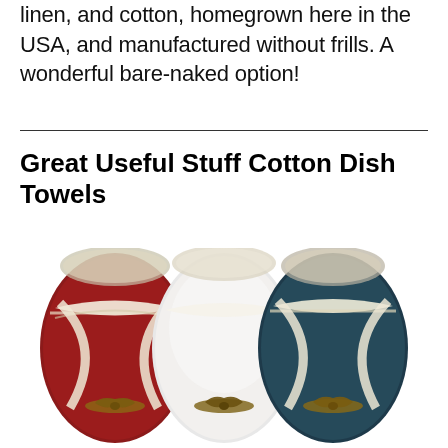linen, and cotton, homegrown here in the USA, and manufactured without frills. A wonderful bare-naked option!
Great Useful Stuff Cotton Dish Towels
[Figure (photo): Three rolled dish towels bundled with twine bows — one red, one white, one dark teal/navy — each wrapped with a cream lace-edged band, photographed on a white background.]